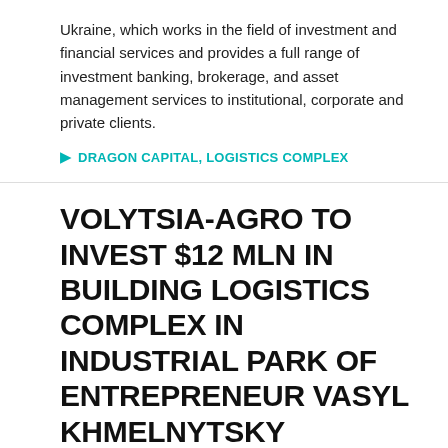Ukraine, which works in the field of investment and financial services and provides a full range of investment banking, brokerage, and asset management services to institutional, corporate and private clients.
DRAGON CAPITAL, LOGISTICS COMPLEX
VOLYTSIA-AGRO TO INVEST $12 MLN IN BUILDING LOGISTICS COMPLEX IN INDUSTRIAL PARK OF ENTREPRENEUR VASYL KHMELNYTSKY
[Figure (photo): Close-up photo of a computer keyboard with a finger pressing a key]